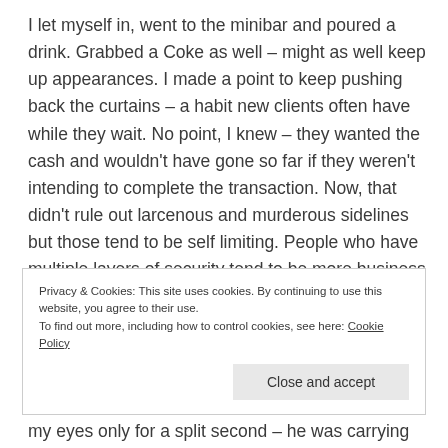I let myself in, went to the minibar and poured a drink. Grabbed a Coke as well – might as well keep up appearances. I made a point to keep pushing back the curtains – a habit new clients often have while they wait. No point, I knew – they wanted the cash and wouldn't have gone so far if they weren't intending to complete the transaction. Now, that didn't rule out larcenous and murderous sidelines but those tend to be self limiting. People who have multiple layers of security tend to be more business like.
Privacy & Cookies: This site uses cookies. By continuing to use this website, you agree to their use.
To find out more, including how to control cookies, see here: Cookie Policy
Close and accept
my eyes only for a split second – he was carrying and